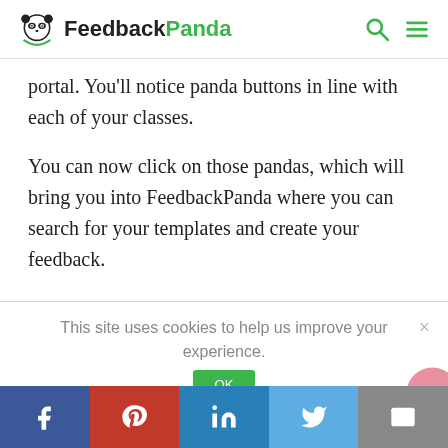FeedbackPanda
portal. You'll notice panda buttons in line with each of your classes.
You can now click on those pandas, which will bring you into FeedbackPanda where you can search for your templates and create your feedback.
This site uses cookies to help us improve your experience.
Social share bar: Facebook, Pinterest, LinkedIn, Twitter, Email